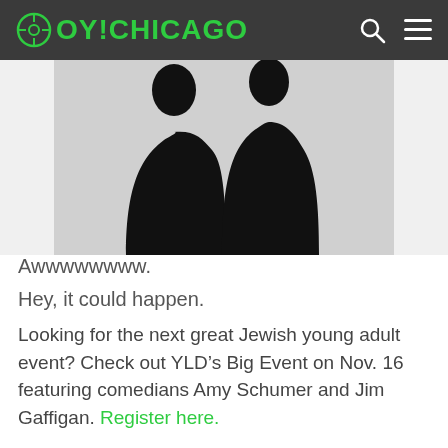OY!CHICAGO
[Figure (photo): Two silhouetted figures in dark clothing facing each other, appearing to kiss or lean close together, against a light background.]
Awwwwwwww.
Hey, it could happen.
Looking for the next great Jewish young adult event? Check out YLD’s Big Event on Nov. 16 featuring comedians Amy Schumer and Jim Gaffigan. Register here.